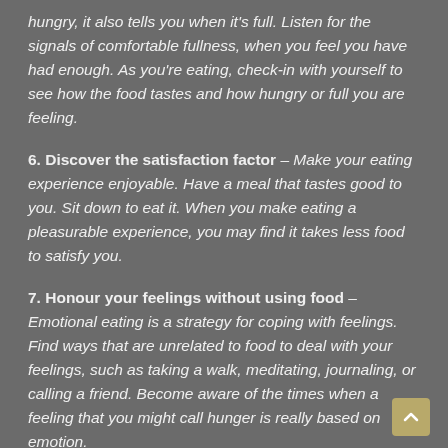hungry, it also tells you when it's full. Listen for the signals of comfortable fullness, when you feel you have had enough. As you're eating, check-in with yourself to see how the food tastes and how hungry or full you are feeling.
6. Discover the satisfaction factor – Make your eating experience enjoyable. Have a meal that tastes good to you. Sit down to eat it. When you make eating a pleasurable experience, you may find it takes less food to satisfy you.
7. Honour your feelings without using food – Emotional eating is a strategy for coping with feelings. Find ways that are unrelated to food to deal with your feelings, such as taking a walk, meditating, journaling, or calling a friend. Become aware of the times when a feeling that you might call hunger is really based on emotion.
8. Respect your body – Rather than criticizing your body for how